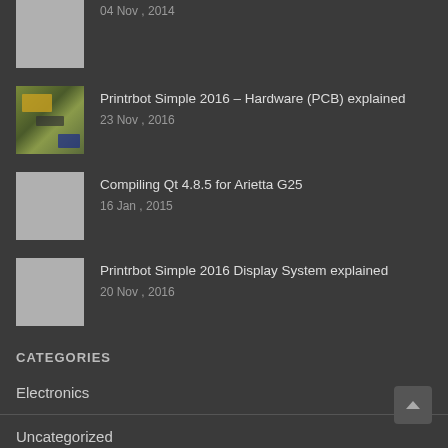04 Nov , 2014
Printrbot Simple 2016 – Hardware (PCB) explained
23 Nov , 2016
Compiling Qt 4.8.5 for Arietta G25
16 Jan , 2015
Printrbot Simple 2016 Display System explained
20 Nov , 2016
CATEGORIES
Electronics
Uncategorized
3D Printing